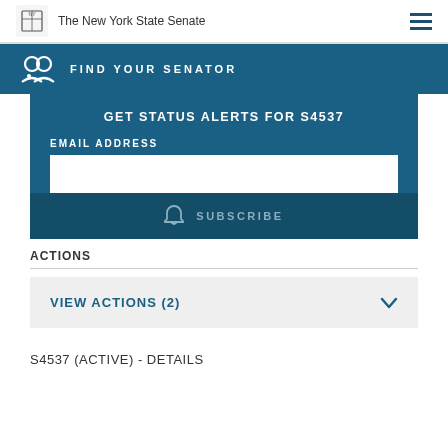The New York State Senate
FIND YOUR SENATOR
GET STATUS ALERTS FOR S4537
EMAIL ADDRESS
SUBSCRIBE
ACTIONS
VIEW ACTIONS (2)
S4537 (ACTIVE) - DETAILS